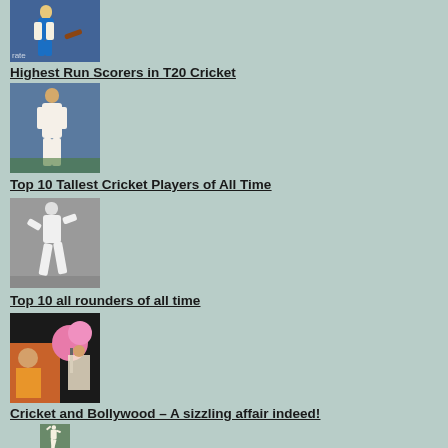[Figure (photo): Cricket player batting in blue uniform]
Highest Run Scorers in T20 Cricket
[Figure (photo): Tall cricket player standing on field in white uniform]
Top 10 Tallest Cricket Players of All Time
[Figure (photo): Black and white photo of cricket all-rounder playing]
Top 10 all rounders of all time
[Figure (photo): Bollywood actress in traditional attire with pink balloons]
Cricket and Bollywood – A sizzling affair indeed!
[Figure (photo): Cricket bowler in action on field]